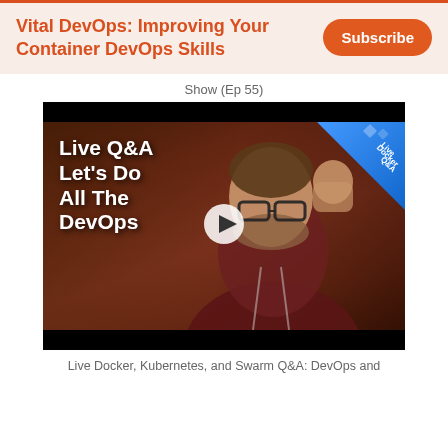Vital DevOps: Improving Your Container DevOps Skills
Subscribe
Show (Ep 55)
[Figure (screenshot): Video thumbnail showing a man with glasses and a beard in a dark hoodie making a fist gesture, with text overlay reading 'Live Q&A Let's Do All The DevOps' and a blue corner badge saying 'Live Docker Q&A' with a play button in the center.]
Live Docker, Kubernetes, and Swarm Q&A: DevOps and